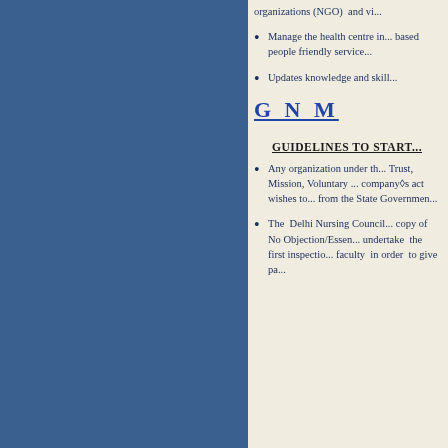organizations (NGO) and vi...
Manage the health centre in... based people friendly service...
Updates knowledge and skill...
G N M
GUIDELINES TO START
Any organization under the... Trust, Mission, Voluntary... company's act wishes to... from the State Government...
The Delhi Nursing Council... copy of No Objection/Essen... undertake the first inspectio... faculty in order to give pa...